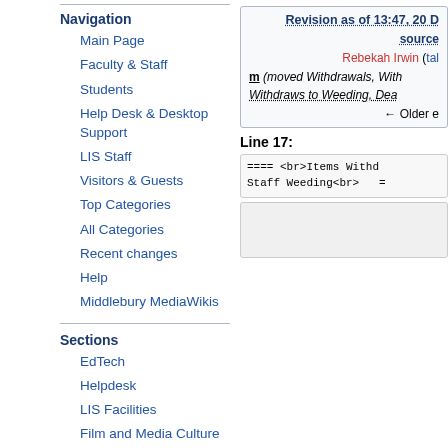Navigation
Main Page
Faculty & Staff
Students
Help Desk & Desktop Support
LIS Staff
Visitors & Guests
Top Categories
All Categories
Recent changes
Help
Middlebury MediaWikis
Sections
EdTech
Helpdesk
LIS Facilities
Film and Media Culture
Technology
Revision as of 13:47, 20 D source
Rebekah Irwin (tal
m (moved Withdrawals, With Withdraws to Weeding, Dea
← Older e
Line 17:
==== <br>Items Withd Staff Weeding<br>  =